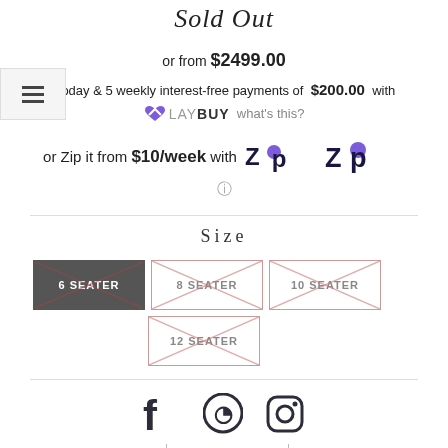Sold Out
or from $2499.00
*today & 5 weekly interest-free payments of $200.00 with LAYBUY what's this?
or Zip it from $10/week with Zip
Size
6 SEATER | 8 SEATER | 10 SEATER | 12 SEATER
[Figure (other): Social media icons: Facebook, Pinterest, Instagram]
Shipping | Warranty & Care Us | Contact Us